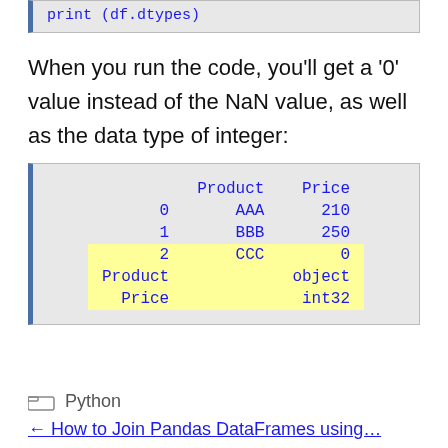[Figure (screenshot): Code block showing: print(df.dtypes)]
When you run the code, you'll get a '0' value instead of the NaN value, as well as the data type of integer:
[Figure (screenshot): Output block showing a pandas DataFrame output with columns Product and Price, rows: 0 AAA 210, 1 BBB 250, 2 CCC 0 (highlighted yellow), and dtype lines: Product object, Price int32 (highlighted yellow)]
Python
How to Join Pandas DataFrames using...